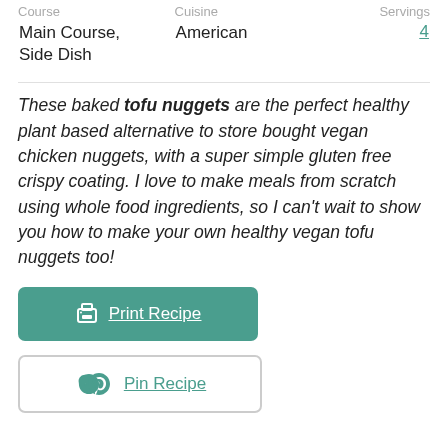| Course | Cuisine | Servings |
| --- | --- | --- |
| Main Course, Side Dish | American | 4 |
These baked tofu nuggets are the perfect healthy plant based alternative to store bought vegan chicken nuggets, with a super simple gluten free crispy coating. I love to make meals from scratch using whole food ingredients, so I can't wait to show you how to make your own healthy vegan tofu nuggets too!
Print Recipe
Pin Recipe